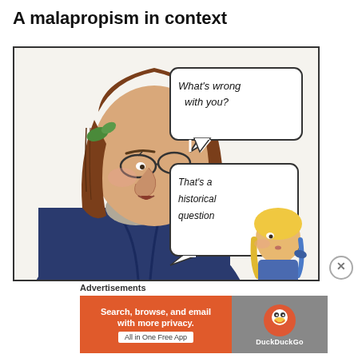A malapropism in context
[Figure (illustration): A cartoon illustration showing a large, stern-looking man with glasses and long brown hair tied with a green ribbon, wearing a dark blue coat, speaking to a small blonde girl. The man has a speech bubble saying 'What's wrong with you?' and the girl has a speech bubble saying 'That's a historical question'. The joke is a malapropism: 'historical' used instead of 'rhetorical'.]
Advertisements
[Figure (infographic): DuckDuckGo advertisement banner. Orange left section with text 'Search, browse, and email with more privacy.' and button 'All in One Free App'. Dark right section with DuckDuckGo logo and name.]